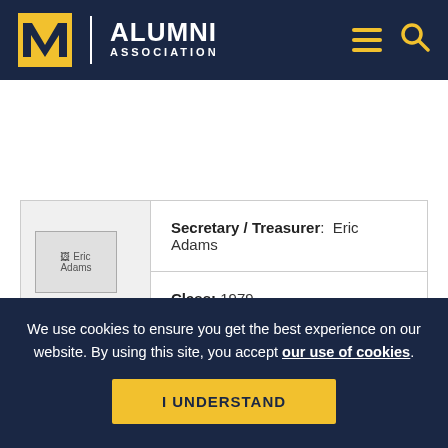U-M Alumni Association
| Photo | Field | Value |
| --- | --- | --- |
| [Eric Adams photo] | Secretary / Treasurer: | Eric Adams |
|  | Class: | 1979 |
|  | School/Major: | College of Engineering – Mechanical Engineering |
We use cookies to ensure you get the best experience on our website. By using this site, you accept our use of cookies.
I UNDERSTAND